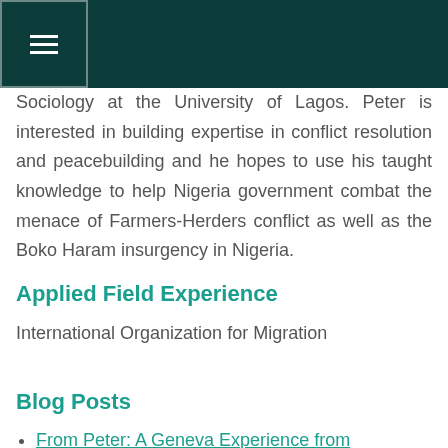Sociology at the University of Lagos. Peter is interested in building expertise in conflict resolution and peacebuilding and he hopes to use his taught knowledge to help Nigeria government combat the menace of Farmers-Herders conflict as well as the Boko Haram insurgency in Nigeria.
Applied Field Experience
International Organization for Migration
Blog Posts
From Peter: A Geneva Experience from